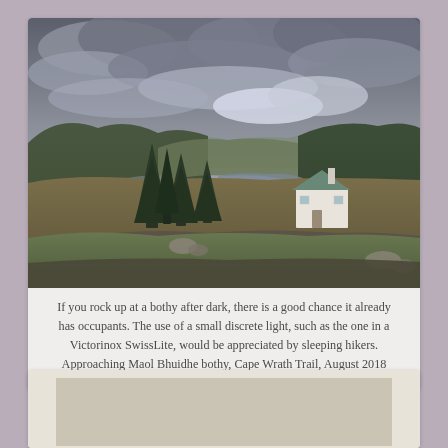[Figure (photo): Landscape photograph showing a remote Scottish highland scene with rolling green and brown moorland hills, a small white cottage (bothy) with a chimney visible on the right side, dark conifer trees on the left, a loch or river visible in the middle distance, and a dramatic overcast sky with heavy grey clouds.]
If you rock up at a bothy after dark, there is a good chance it already has occupants. The use of a small discrete light, such as the one in a Victorinox SwissLite, would be appreciated by sleeping hikers. Approaching Maol Bhuidhe bothy, Cape Wrath Trail, August 2018
[Figure (photo): Partial view of a second photograph at the bottom of the page, showing what appears to be an interior or close-up scene, mostly cut off.]